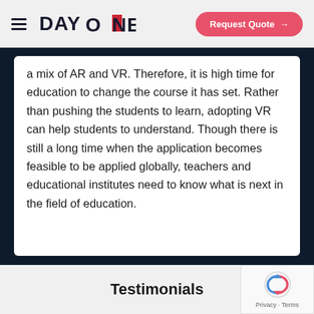DAY ONE — Request Quote
a mix of AR and VR. Therefore, it is high time for education to change the course it has set. Rather than pushing the students to learn, adopting VR can help students to understand. Though there is still a long time when the application becomes feasible to be applied globally, teachers and educational institutes need to know what is next in the field of education.
Testimonials